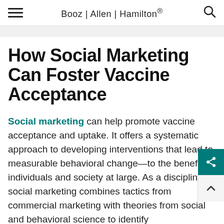Booz | Allen | Hamilton®
How Social Marketing Can Foster Vaccine Acceptance
Social marketing can help promote vaccine acceptance and uptake. It offers a systematic approach to developing interventions that lead to measurable behavioral change—to the benefit of individuals and society at large. As a discipline, social marketing combines tactics from commercial marketing with theories from social and behavioral science to identify